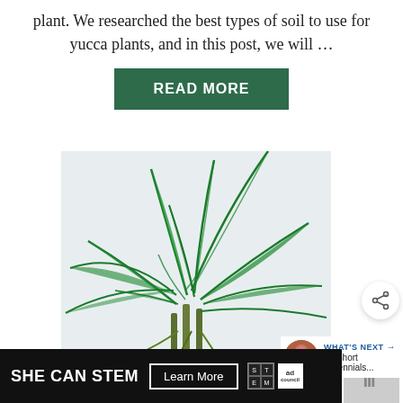plant. We researched the best types of soil to use for yucca plants, and in this post, we will …
READ MORE
[Figure (photo): A lush green palm/areca palm plant with many feathery fronds photographed against a light gray/white background.]
[Figure (other): Share button icon (circular white button with share symbol)]
WHAT'S NEXT → 15 Short Perennials...
SHE CAN STEM  Learn More